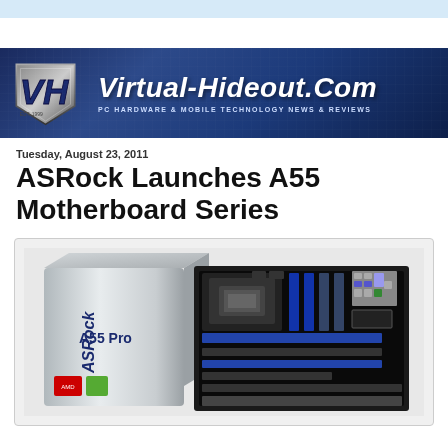[Figure (logo): Virtual-Hideout.Com website banner with VH shield logo on left and site name 'Virtual-Hideout.Com' in large italic white text with subtitle 'PC HARDWARE & MOBILE TECHNOLOGY NEWS & REVIEWS']
Tuesday, August 23, 2011
ASRock Launches A55 Motherboard Series
[Figure (photo): ASRock A55 Pro motherboard product photo showing the motherboard box and the ATX motherboard itself with AMD socket, blue RAM slots, and PCIe slots]